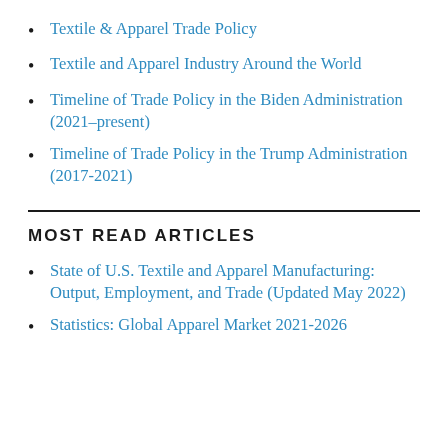Textile & Apparel Trade Policy
Textile and Apparel Industry Around the World
Timeline of Trade Policy in the Biden Administration (2021–present)
Timeline of Trade Policy in the Trump Administration (2017-2021)
MOST READ ARTICLES
State of U.S. Textile and Apparel Manufacturing: Output, Employment, and Trade (Updated May 2022)
Statistics: Global Apparel Market 2021-2026